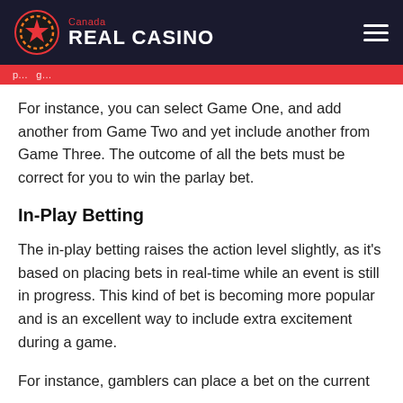Canada REAL CASINO
For instance, you can select Game One, and add another from Game Two and yet include another from Game Three. The outcome of all the bets must be correct for you to win the parlay bet.
In-Play Betting
The in-play betting raises the action level slightly, as it's based on placing bets in real-time while an event is still in progress. This kind of bet is becoming more popular and is an excellent way to include extra excitement during a game.
For instance, gamblers can place a bet on the current